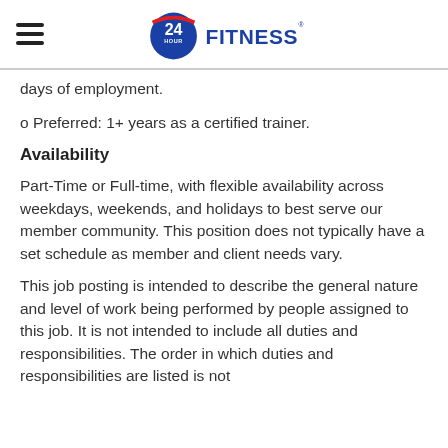[Figure (logo): 24 Hour Fitness logo with hamburger menu icon]
days of employment.
o Preferred: 1+ years as a certified trainer.
Availability
Part-Time or Full-time, with flexible availability across weekdays, weekends, and holidays to best serve our member community. This position does not typically have a set schedule as member and client needs vary.
This job posting is intended to describe the general nature and level of work being performed by people assigned to this job. It is not intended to include all duties and responsibilities. The order in which duties and responsibilities are listed is not